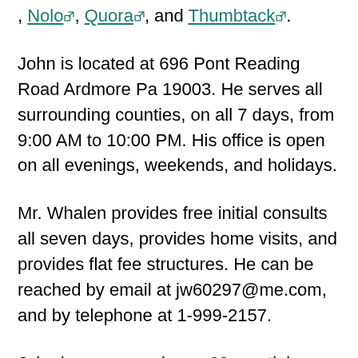, Nolo, Quora, and Thumbtack.
John is located at 696 Pont Reading Road Ardmore Pa 19003. He serves all surrounding counties, on all 7 days, from 9:00 AM to 10:00 PM. His office is open on all evenings, weekends, and holidays.
Mr. Whalen provides free initial consults all seven days, provides home visits, and provides flat fee structures. He can be reached by email at jw60297@me.com, and by telephone at 1-999-2157.
John has amassed over 60 prestigious and